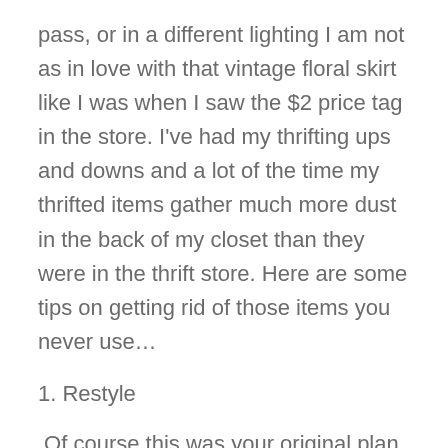pass, or in a different lighting I am not as in love with that vintage floral skirt like I was when I saw the $2 price tag in the store. I've had my thrifting ups and downs and a lot of the time my thrifted items gather much more dust in the back of my closet than they were in the thrift store. Here are some tips on getting rid of those items you never use…
1. Restyle
Of course this was your original plan in the store, think back to that original vision of how great that skirt could be now made into a